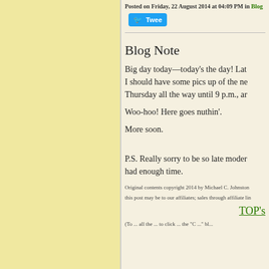Posted on Friday, 22 August 2014 at 04:09 PM in Blog
Tweet
Blog Note
Big day today—today's the day! Lat... I should have some pics up of the ne... Thursday all the way until 9 p.m., ar...
Woo-hoo! Here goes nuthin'.
More soon.
P.S. Really sorry to be so late moder... had enough time.
Original contents copyright 2014 by Michael C. Johnston
this post may be to our affiliates; sales through affiliate lin...
TOP's
(To ... all the ... to click ... the "C ... " bla...